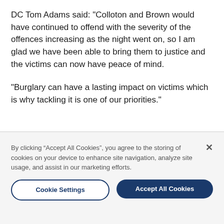DC Tom Adams said: "Colloton and Brown would have continued to offend with the severity of the offences increasing as the night went on, so I am glad we have been able to bring them to justice and the victims can now have peace of mind.
"Burglary can have a lasting impact on victims which is why tackling it is one of our priorities."
By clicking “Accept All Cookies”, you agree to the storing of cookies on your device to enhance site navigation, analyze site usage, and assist in our marketing efforts.